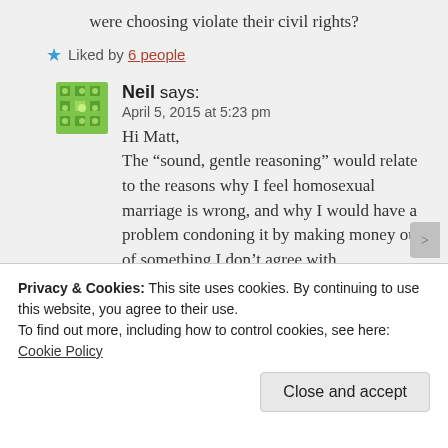were choosing violate their civil rights?
Liked by 6 people
Neil says:
April 5, 2015 at 5:23 pm
Hi Matt,
The “sound, gentle reasoning” would relate to the reasons why I feel homosexual marriage is wrong, and why I would have a problem condoning it by making money out of something I don’t agree with.
Privacy & Cookies: This site uses cookies. By continuing to use this website, you agree to their use.
To find out more, including how to control cookies, see here: Cookie Policy
Close and accept